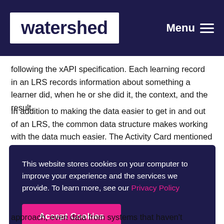watershed | Menu
following the xAPI specification. Each learning record in an LRS records information about something a learner did, when he or she did it, the context, and the result.
In addition to making the data easier to get in and out of an LRS, the common data structure makes working with the data much easier. The Activity Card mentioned above, for instance, can present question data in a form relevant
This website stores cookies on your computer to improve your experience and the services we provide. To learn more, see our Privacy Policy
Accept Cookies
approach, even data from systems that haven't